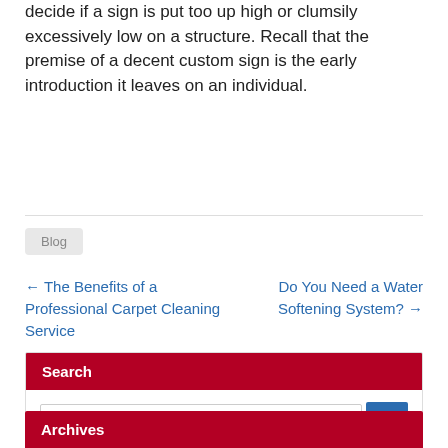decide if a sign is put too up high or clumsily excessively low on a structure. Recall that the premise of a decent custom sign is the early introduction it leaves on an individual.
Blog
← The Benefits of a Professional Carpet Cleaning Service
Do You Need a Water Softening System? →
Search
Archives